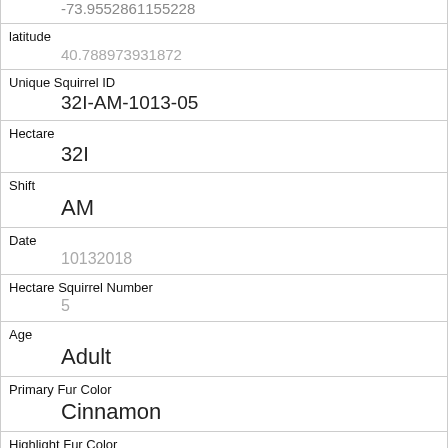| Field | Value |
| --- | --- |
|  | -73.9552861155228 |
| latitude | 40.788973931872 |
| Unique Squirrel ID | 32I-AM-1013-05 |
| Hectare | 32I |
| Shift | AM |
| Date | 10132018 |
| Hectare Squirrel Number | 5 |
| Age | Adult |
| Primary Fur Color | Cinnamon |
| Highlight Fur Color | Gray |
| Combination of Primary and Highlight Color | Cinnamon+Gray |